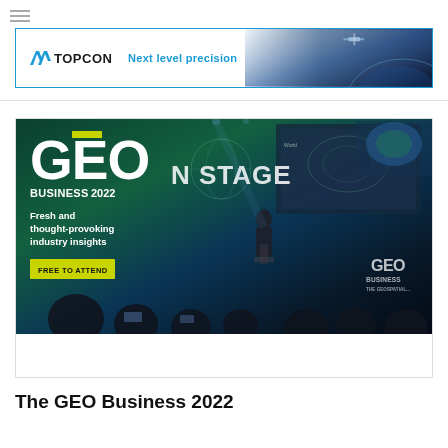[Figure (logo): Topcon logo and banner advertisement with text 'Next level precision' on a blue-themed background with satellite imagery]
[Figure (photo): GEO Business 2022 advertisement image showing a presenter on stage with audience, overlaid with GEO BUSINESS 2022 branding, 'Fresh and thought-provoking industry insights', and 'FREE TO ATTEND' button]
The GEO Business 2022